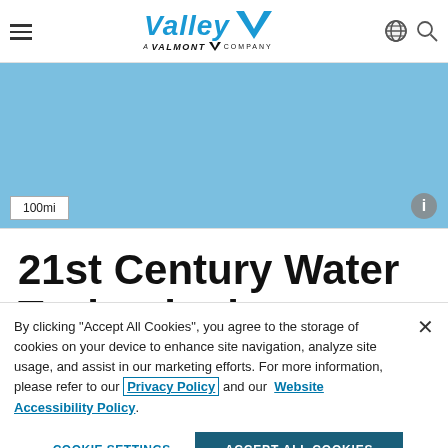Valley — A Valmont Company
[Figure (map): Light blue map area showing 100mi scale indicator and info icon]
21st Century Water Technologies
By clicking "Accept All Cookies", you agree to the storage of cookies on your device to enhance site navigation, analyze site usage, and assist in our marketing efforts. For more information, please refer to our Privacy Policy and our Website Accessibility Policy.
COOKIE SETTINGS
ACCEPT ALL COOKIES